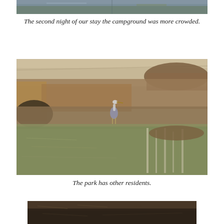[Figure (photo): Partial view of a campground scene near water, top portion of image cropped]
The second night of our stay the campground was more crowded.
[Figure (photo): A great blue heron standing at the edge of a pond or waterway, surrounded by dry winter grasses and brush, with tree reflections visible in the calm water]
The park has other residents.
[Figure (photo): Bottom partial view of another outdoor scene, dark tones suggesting dense vegetation or ground cover]